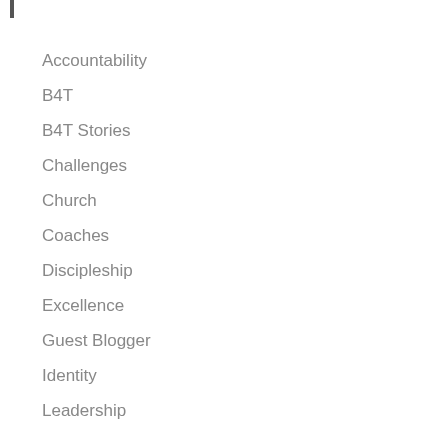Accountability
B4T
B4T Stories
Challenges
Church
Coaches
Discipleship
Excellence
Guest Blogger
Identity
Leadership